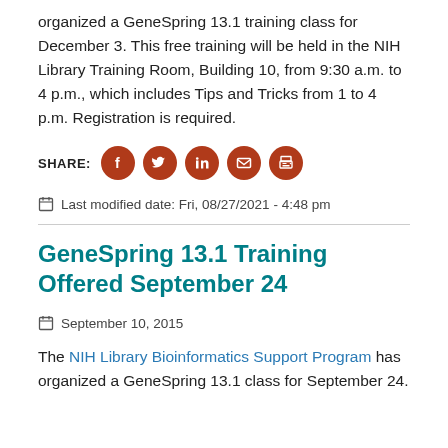organized a GeneSpring 13.1 training class for December 3. This free training will be held in the NIH Library Training Room, Building 10, from 9:30 a.m. to 4 p.m., which includes Tips and Tricks from 1 to 4 p.m. Registration is required.
SHARE:
Last modified date: Fri, 08/27/2021 - 4:48 pm
GeneSpring 13.1 Training Offered September 24
September 10, 2015
The NIH Library Bioinformatics Support Program has organized a GeneSpring 13.1 class for September 24.